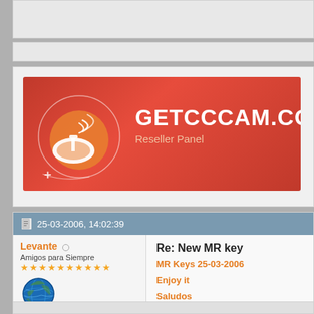[Figure (screenshot): GETCCCAM.COM Reseller Panel banner with satellite dish logo on red gradient background]
25-03-2006, 14:02:39
Levante (online indicator)
Amigos para Siempre
Join Date: 10-10-2005
Posts: 25,364
Uploads: 197
Likes: 7
Re: New MR key
MR Keys 25-03-2006
Enjoy it
Saludos